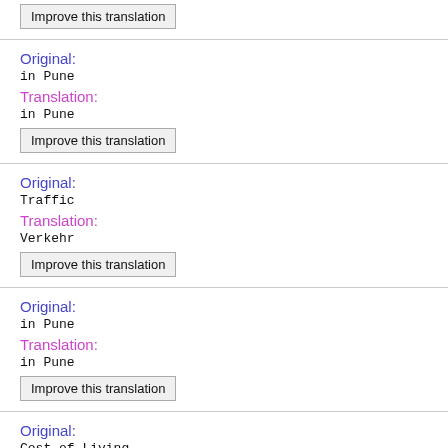Improve this translation
Original:
in Pune
Translation:
in Pune
Improve this translation
Original:
Traffic
Translation:
Verkehr
Improve this translation
Original:
in Pune
Translation:
in Pune
Improve this translation
Original:
Cost of Living
Translation: